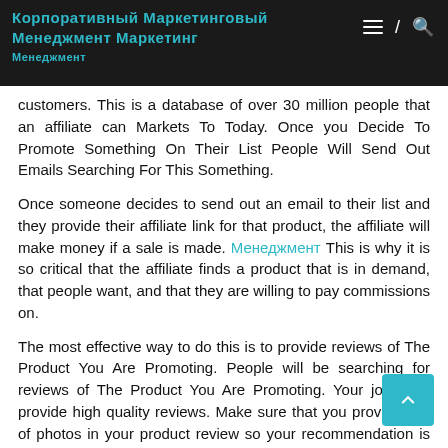Корпоративный Маркетинговый Менеджмент Маркетинг / Менеджмент
customers. This is a database of over 30 million people that an affiliate can Markets To Today. Once you Decide To Promote Something On Their List People Will Send Out Emails Searching For This Something.
Once someone decides to send out an email to their list and they provide their affiliate link for that product, the affiliate will make money if a sale is made. [link text] This is why it is so critical that the affiliate finds a product that is in demand, that people want, and that they are willing to pay commissions on.
The most effective way to do this is to provide reviews of The Product You Are Promoting. People will be searching for reviews of The Product You Are Promoting. Your job is to provide high quality reviews. Make sure that you provide lots of photos in your product review so your recommendation is believable.